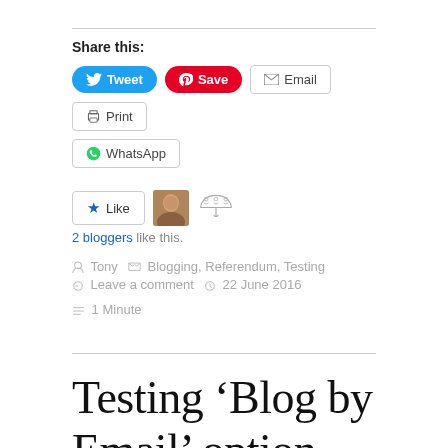Share this:
Tweet  Save  Email  Print
WhatsApp
[Figure (other): Like button with star icon, user avatar thumbnail, and umbrella/people icon]
2 bloggers like this.
Tony   Blogging, Referendum, Testing
Leave a comment   22 June 2016   1 Minute
Testing ‘Blog by Email’ option